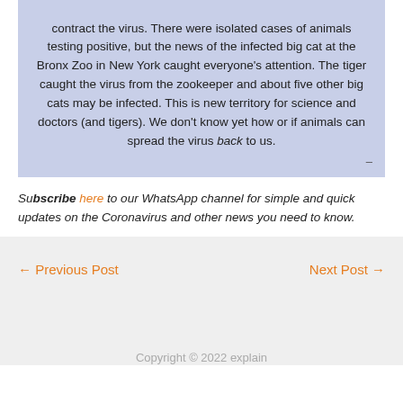contract the virus. There were isolated cases of animals testing positive, but the news of the infected big cat at the Bronx Zoo in New York caught everyone's attention. The tiger caught the virus from the zookeeper and about five other big cats may be infected. This is new territory for science and doctors (and tigers). We don't know yet how or if animals can spread the virus back to us.
Subscribe here to our WhatsApp channel for simple and quick updates on the Coronavirus and other news you need to know.
← Previous Post
Next Post →
Copyright © 2022 explain